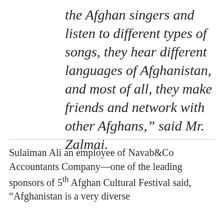the Afghan singers and listen to different types of songs, they hear different languages of Afghanistan, and most of all, they make friends and network with other Afghans," said Mr. Zalmai.
Sulaiman Ali an employee of Navab&Co Accountants Company—one of the leading sponsors of 5th Afghan Cultural Festival said, "Afghanistan is a very diverse